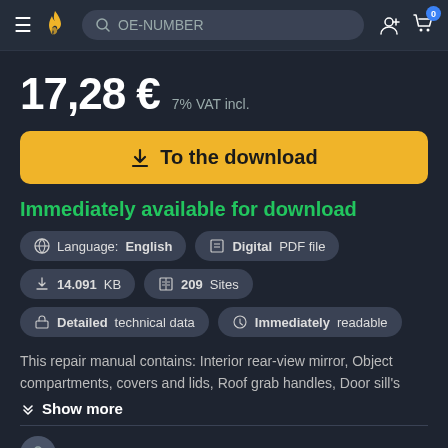OE-NUMBER
17,28 € 7% VAT incl.
To the download
Immediately available for download
Language: English
Digital PDF file
14.091 KB
209 Sites
Detailed technical data
Immediately readable
This repair manual contains: Interior rear-view mirror, Object compartments, covers and lids, Roof grab handles, Door sill's
Show more